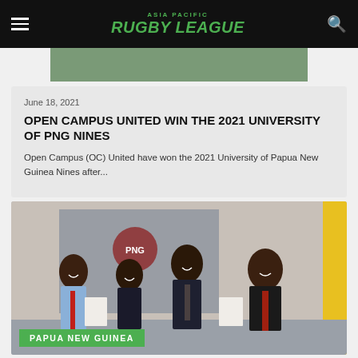ASIA PACIFIC RUGBY LEAGUE
June 18, 2021
OPEN CAMPUS UNITED WIN THE 2021 UNIVERSITY OF PNG NINES
Open Campus (OC) United have won the 2021 University of Papua New Guinea Nines after...
[Figure (photo): Four men in formal attire smiling and holding documents, standing in front of a PNG rugby league banner backdrop]
PAPUA NEW GUINEA